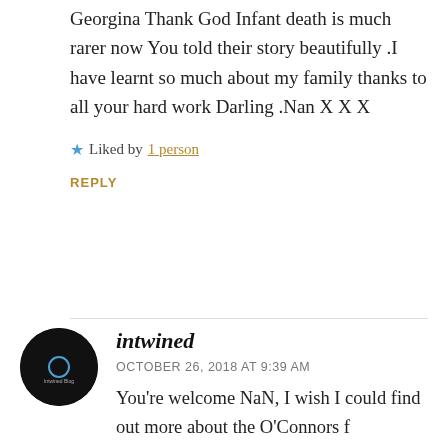Georgina Thank God Infant death is much rarer now You told their story beautifully .I have learnt so much about my family thanks to all your hard work Darling .Nan X X X
★ Liked by 1 person
REPLY
intwined
OCTOBER 26, 2018 AT 9:39 AM
You're welcome NaN, I wish I could find out more about the O'Connors f…